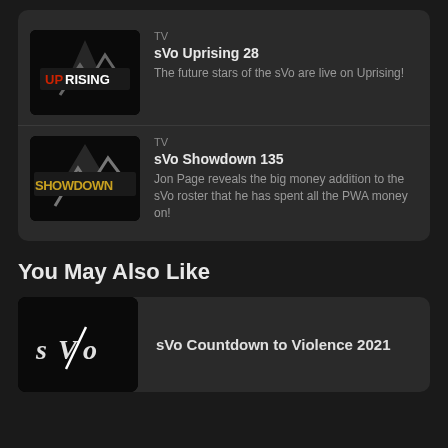TV
sVo Uprising 28
The future stars of the sVo are live on Uprising!
TV
sVo Showdown 135
Jon Page reveals the big money addition to the sVo roster that he has spent all the PWA money on!
You May Also Like
sVo Countdown to Violence 2021